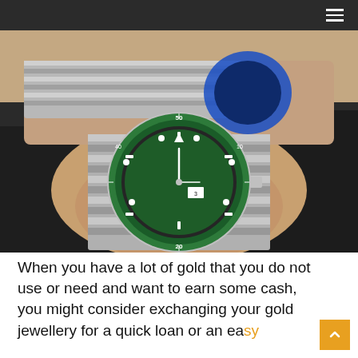Navigation bar with hamburger menu
[Figure (photo): Close-up photo of a person's wrist wearing a Rolex Submariner watch with green bezel and green dial on an Oyster bracelet. A second watch with a blue bezel is visible on the other wrist in the background.]
When you have a lot of gold that you do not use or need and want to earn some cash, you might consider exchanging your gold jewellery for a quick loan or an easy